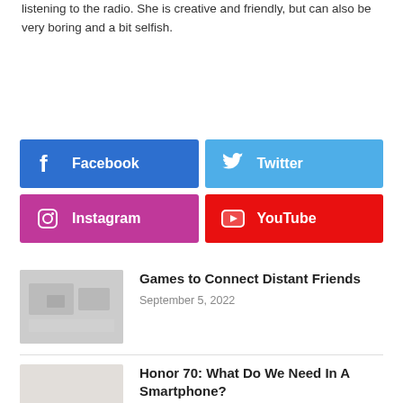listening to the radio. She is creative and friendly, but can also be very boring and a bit selfish.
[Figure (infographic): Four social media share buttons: Facebook (blue), Twitter (light blue), Instagram (pink/magenta), YouTube (red), each with icon and label in white text.]
[Figure (photo): Thumbnail image for article 'Games to Connect Distant Friends']
Games to Connect Distant Friends
September 5, 2022
Honor 70: What Do We Need In A Smartphone?